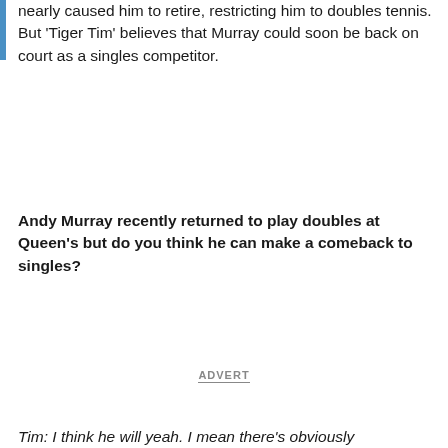nearly caused him to retire, restricting him to doubles tennis. But 'Tiger Tim' believes that Murray could soon be back on court as a singles competitor.
Andy Murray recently returned to play doubles at Queen's but do you think he can make a comeback to singles?
ADVERT
Tim: I think he will yeah. I mean there's obviously